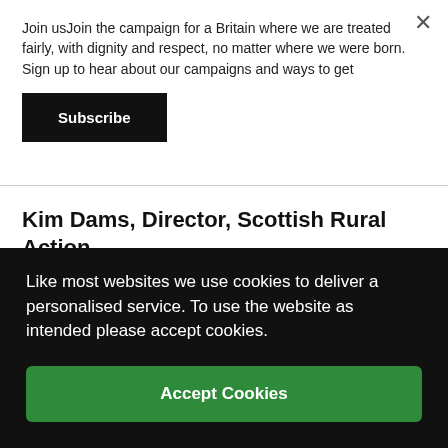Join usJoin the campaign for a Britain where we are treated fairly, with dignity and respect, no matter where we were born. Sign up to hear about our campaigns and ways to get
Subscribe
Kim Dams, Director, Scottish Rural Action
Kush Chottera, Executive Director, Europia
y
Like most websites we use cookies to deliver a personalised service. To use the website as intended please accept cookies.
Accept Cookies